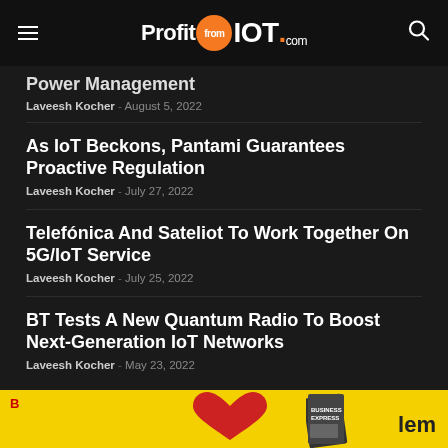ProfitfromIOT.com
Power Management
Laveesh Kocher - August 5, 2022
As IoT Beckons, Pantami Guarantees Proactive Regulation
Laveesh Kocher - July 27, 2022
Telefónica And Sateliot To Work Together On 5G/IoT Service
Laveesh Kocher - July 25, 2022
BT Tests A New Quantum Radio To Boost Next-Generation IoT Networks
Laveesh Kocher - May 23, 2022
[Figure (other): Yellow advertisement banner with red heart graphic, magazine image, and partial text 'lem']